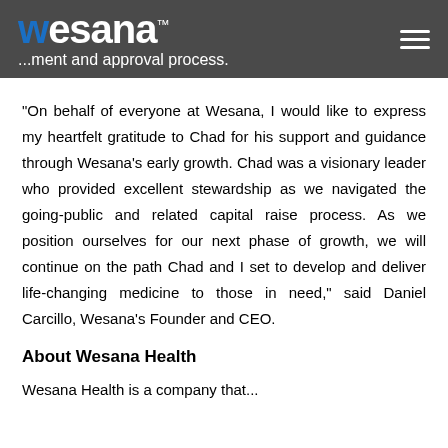wesana™ — ...ment and approval process.
"On behalf of everyone at Wesana, I would like to express my heartfelt gratitude to Chad for his support and guidance through Wesana's early growth. Chad was a visionary leader who provided excellent stewardship as we navigated the going-public and related capital raise process. As we position ourselves for our next phase of growth, we will continue on the path Chad and I set to develop and deliver life-changing medicine to those in need," said Daniel Carcillo, Wesana's Founder and CEO.
About Wesana Health
Wesana Health is a company that...